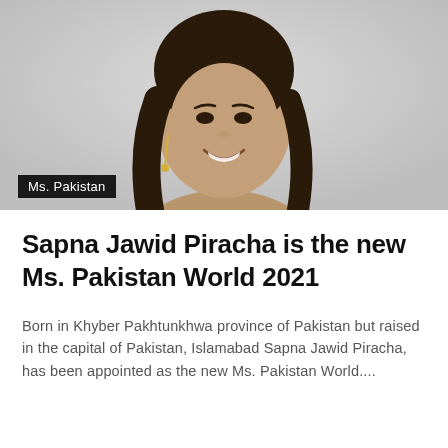[Figure (photo): Photo of Sapna Jawid Piracha, a woman with long dark hair, smiling, shown from shoulders up against a light background. A black label reading 'Ms. Pakistan' is overlaid at the bottom left.]
Sapna Jawid Piracha is the new Ms. Pakistan World 2021
Born in Khyber Pakhtunkhwa province of Pakistan but raised in the capital of Pakistan, Islamabad Sapna Jawid Piracha, has been appointed as the new Ms. Pakistan World....